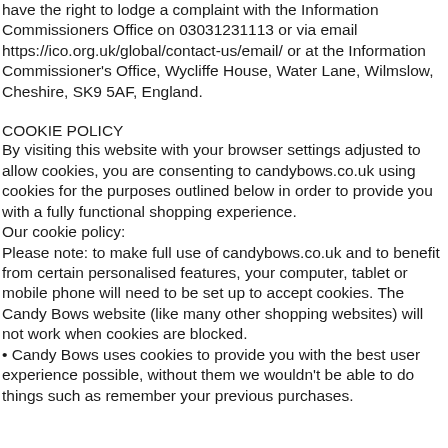have the right to lodge a complaint with the Information Commissioners Office on 03031231113 or via email https://ico.org.uk/global/contact-us/email/ or at the Information Commissioner's Office, Wycliffe House, Water Lane, Wilmslow, Cheshire, SK9 5AF, England.
COOKIE POLICY
By visiting this website with your browser settings adjusted to allow cookies, you are consenting to candybows.co.uk using cookies for the purposes outlined below in order to provide you with a fully functional shopping experience.
Our cookie policy:
Please note: to make full use of candybows.co.uk and to benefit from certain personalised features, your computer, tablet or mobile phone will need to be set up to accept cookies. The Candy Bows website (like many other shopping websites) will not work when cookies are blocked.
• Candy Bows uses cookies to provide you with the best user experience possible, without them we wouldn't be able to do things such as remember your previous purchases.